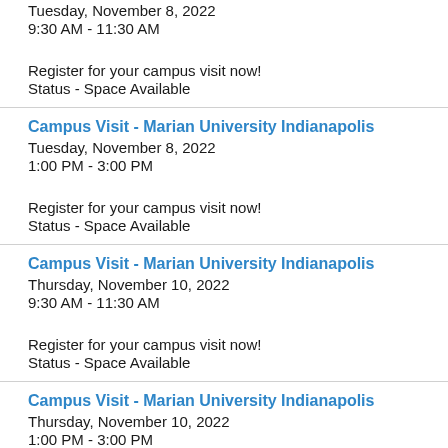Tuesday, November 8, 2022
9:30 AM - 11:30 AM
Register for your campus visit now!
Status - Space Available
Campus Visit - Marian University Indianapolis
Tuesday, November 8, 2022
1:00 PM - 3:00 PM
Register for your campus visit now!
Status - Space Available
Campus Visit - Marian University Indianapolis
Thursday, November 10, 2022
9:30 AM - 11:30 AM
Register for your campus visit now!
Status - Space Available
Campus Visit - Marian University Indianapolis
Thursday, November 10, 2022
1:00 PM - 3:00 PM
Register for your campus visit now!